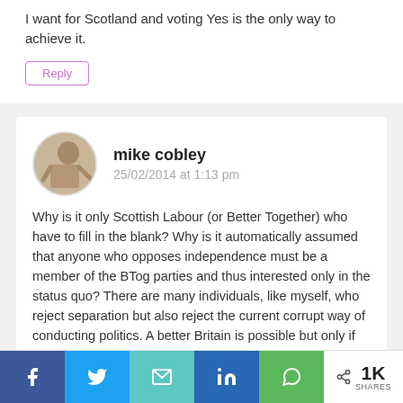I want for Scotland and voting Yes is the only way to achieve it.
Reply
mike cobley
25/02/2014 at 1:13 pm
Why is it only Scottish Labour (or Better Together) who have to fill in the blank? Why is it automatically assumed that anyone who opposes independence must be a member of the BTog parties and thus interested only in the status quo? There are many individuals, like myself, who reject separation but also reject the current corrupt way of conducting politics. A better Britain is possible but only if people fight for it – there's an argument to
< 1K SHARES